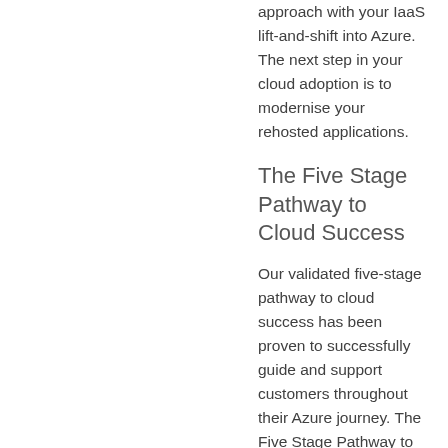approach with your IaaS lift-and-shift into Azure. The next step in your cloud adoption is to modernise your rehosted applications.
The Five Stage Pathway to Cloud Success
Our validated five-stage pathway to cloud success has been proven to successfully guide and support customers throughout their Azure journey. The Five Stage Pathway to Cloud Success begins with a clear plan – covering everything from network connectivity to security. From there,, it moves into migrating and